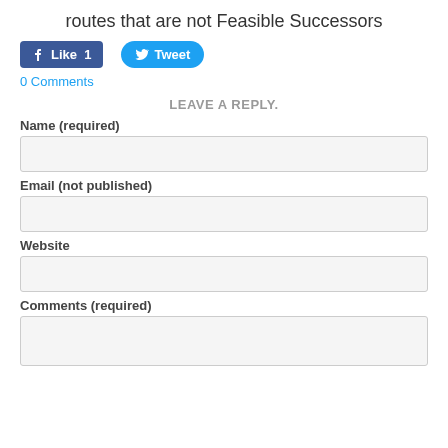routes that are not Feasible Successors
[Figure (other): Facebook Like button (count: 1) and Twitter Tweet button]
0 Comments
LEAVE A REPLY.
Name (required)
Email (not published)
Website
Comments (required)